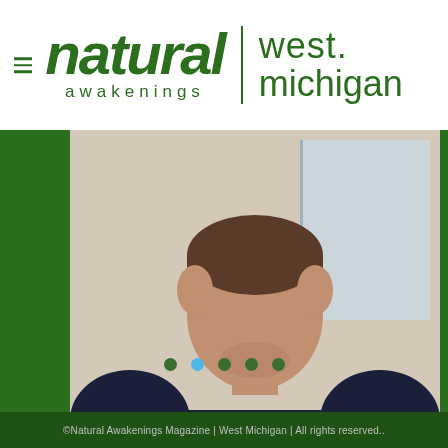natural awakenings | west michigan
[Figure (photo): Man in dark navy sweater with hands pressed together in prayer/namaste position, photographed from chest up with neutral background]
David Hamilton
LIVING
[Figure (other): Carousel navigation dots: 5 dots, second one highlighted in blue]
©Natural Awakenings Magazine | West Michigan | All rights reserved..